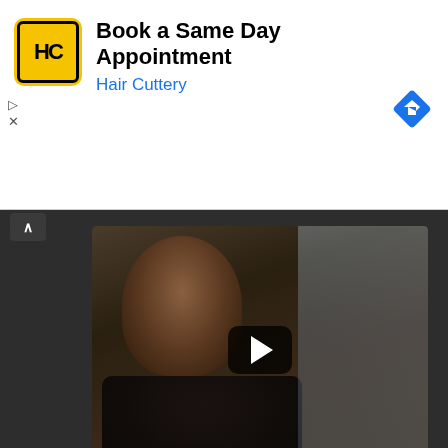[Figure (screenshot): Hair Cuttery advertisement banner with yellow logo, 'Book a Same Day Appointment' headline, and blue navigation arrow icon]
[Figure (screenshot): Partially visible video thumbnail showing a man's face, with play button overlay]
[Figure (screenshot): Video thumbnail for 'Oakland A's Ballpark ...' showing two men in green shirts outdoors, with channel avatar and play button]
[Figure (screenshot): Partial video thumbnail for 'Black Female Oaklan...' with channel avatar]